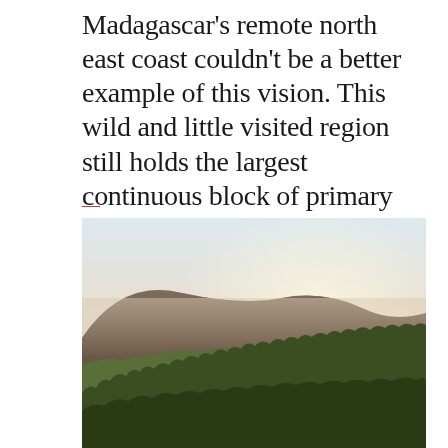Madagascar's remote north east coast couldn't be a better example of this vision. This wild and little visited region still holds the largest continuous block of primary (old growth) lowland rainforest left on this fragile island.
[Figure (photo): Aerial or distant view of lush green rainforest canopy on rolling hills beneath a hazy, bright sky — Madagascar lowland rainforest landscape.]